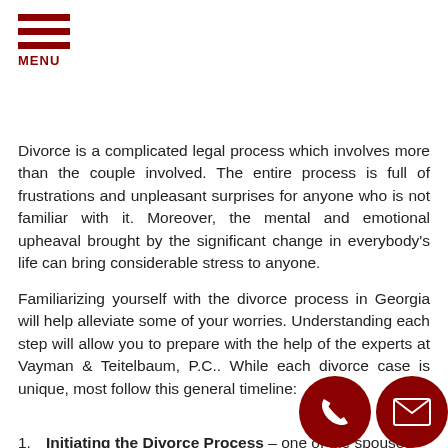MENU
Divorce is a complicated legal process which involves more than the couple involved. The entire process is full of frustrations and unpleasant surprises for anyone who is not familiar with it. Moreover, the mental and emotional upheaval brought by the significant change in everybody's life can bring considerable stress to anyone.
Familiarizing yourself with the divorce process in Georgia will help alleviate some of your worries. Understanding each step will allow you to prepare with the help of the experts at Vayman & Teitelbaum, P.C.. While each divorce case is unique, most follow this general timeline:
Initiating the Divorce Process – one of the spouses hires a lawyer and develops a petition or complaint outlining the reasons for the divorce and how he/she wants to settle custody, finances, and related issues.